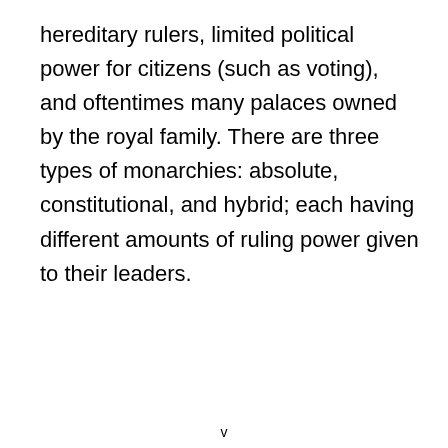hereditary rulers, limited political power for citizens (such as voting), and oftentimes many palaces owned by the royal family. There are three types of monarchies: absolute, constitutional, and hybrid; each having different amounts of ruling power given to their leaders.
v